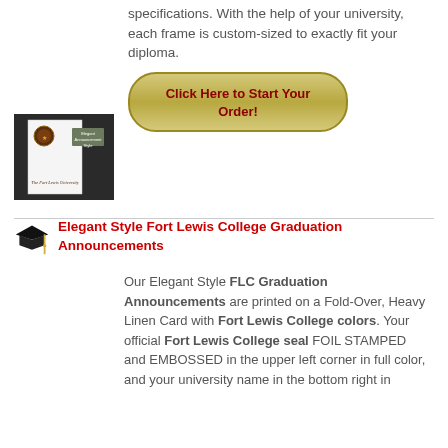specifications. With the help of your university, each frame is custom-sized to exactly fit your diploma.
[Figure (illustration): Olive/gold pill-shaped button with red bold text: Click Here to Start Your Order!]
[Figure (photo): Elegant Style graduation announcement card showing a folded white linen card with a seal and university name, against a dark background. Label reads: Elegant Announcement Style]
Elegant Style Fort Lewis College Graduation Announcements
Our Elegant Style FLC Graduation Announcements are printed on a Fold-Over, Heavy Linen Card with Fort Lewis College colors. Your official Fort Lewis College seal FOIL STAMPED and EMBOSSED in the upper left corner in full color, and your university name in the bottom right in